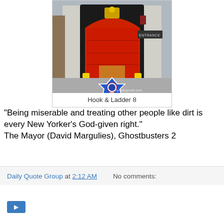[Figure (photo): Photograph of Hook & Ladder 8 fire station exterior, showing a large arched entrance with a red overhead door, yellow bollards, and a blue FDNY star logo painted on the sidewalk. Watermark reads nydailyquote.com.]
Hook & Ladder 8
"Being miserable and treating other people like dirt is every New Yorker's God-given right."
The Mayor (David Margulies), Ghostbusters 2
Daily Quote Group at 2:12 AM   No comments: